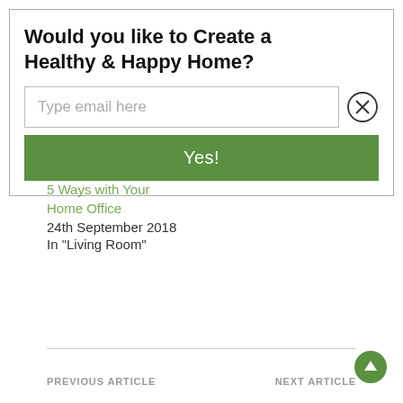Would you like to Create a Healthy & Happy Home?
Type email here
Yes!
5 Ways with Your Home Office
24th September 2018
In "Living Room"
PREVIOUS ARTICLE    NEXT ARTICLE